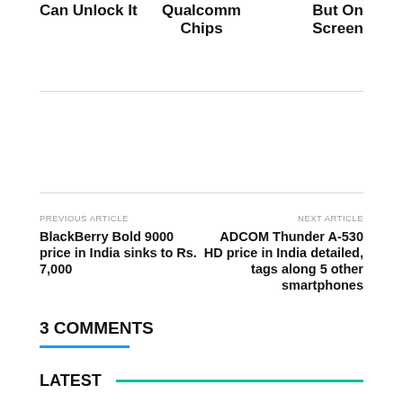Can Unlock It
Qualcomm Chips
But On Screen
PREVIOUS ARTICLE
BlackBerry Bold 9000 price in India sinks to Rs. 7,000
NEXT ARTICLE
ADCOM Thunder A-530 HD price in India detailed, tags along 5 other smartphones
3 COMMENTS
LATEST